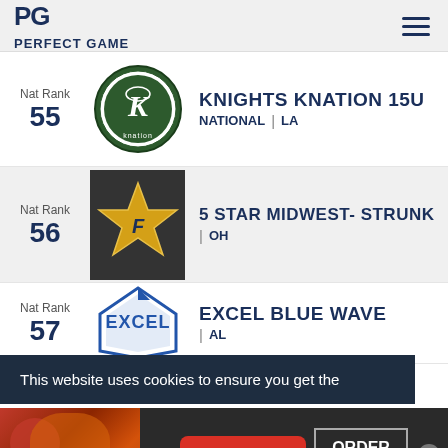PG PERFECT GAME
Nat Rank 55
[Figure (logo): Knights Knation team logo - circular green and black emblem with a K]
KNIGHTS KNATION 15U NATIONAL | LA
Nat Rank 56
[Figure (logo): 5 Star Midwest star logo - gold star on dark background]
5 STAR MIDWEST- STRUNK | OH
Nat Rank 57
[Figure (logo): Excel Blue Wave logo - blue diamond/house shape with Excel text]
EXCEL BLUE WAVE | AL
This website uses cookies to ensure you get the
[Figure (screenshot): Seamless food delivery advertisement with pizza image and ORDER NOW button]